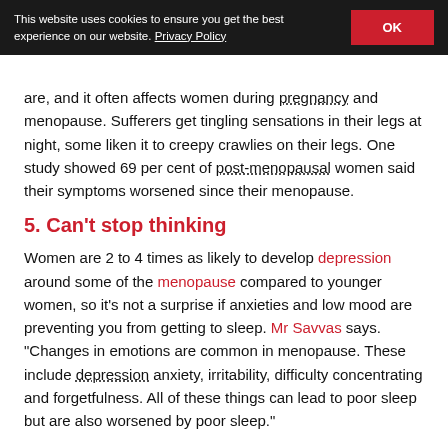This website uses cookies to ensure you get the best experience on our website. Privacy Policy | OK
are, and it often affects women during pregnancy and menopause. Sufferers get tingling sensations in their legs at night, some liken it to creepy crawlies on their legs. One study showed 69 per cent of post-menopausal women said their symptoms worsened since their menopause.
5. Can't stop thinking
Women are 2 to 4 times as likely to develop depression around some of the menopause compared to younger women, so it's not a surprise if anxieties and low mood are preventing you from getting to sleep. Mr Savvas says. "Changes in emotions are common in menopause. These include depression anxiety, irritability, difficulty concentrating and forgetfulness. All of these things can lead to poor sleep but are also worsened by poor sleep."
For further information on these symptoms and effective treatments, follow article: Sleep in the menopause and Fi...